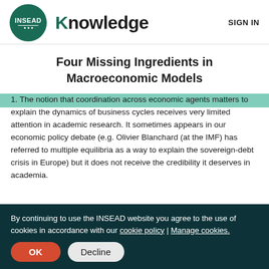INSEAD Knowledge  SIGN IN
Four Missing Ingredients in Macroeconomic Models
1. The notion that coordination across economic agents matters to explain the dynamics of business cycles receives very limited attention in academic research. It sometimes appears in our economic policy debate (e.g. Olivier Blanchard (at the IMF) has referred to multiple equilibria as a way to explain the sovereign-debt crisis in Europe) but it does not receive the credibility it deserves in academia.
By continuing to use the INSEAD website you agree to the use of cookies in accordance with our cookie policy | Manage cookies.